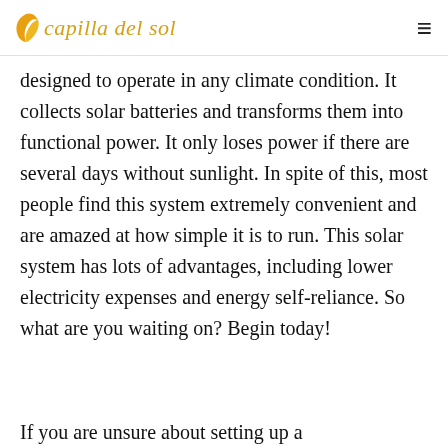capilla del sol
designed to operate in any climate condition. It collects solar batteries and transforms them into functional power. It only loses power if there are several days without sunlight. In spite of this, most people find this system extremely convenient and are amazed at how simple it is to run. This solar system has lots of advantages, including lower electricity expenses and energy self-reliance. So what are you waiting on? Begin today!
If you are unsure about setting up a